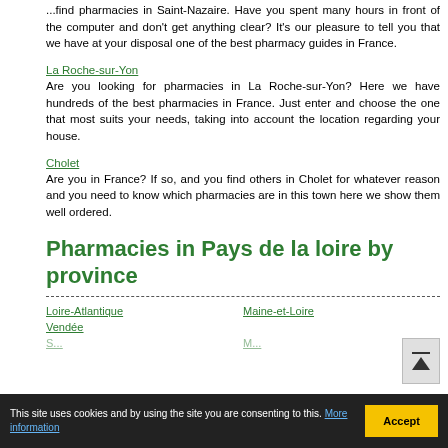...find pharmacies in Saint-Nazaire. Have you spent many hours in front of the computer and don't get anything clear? It's our pleasure to tell you that we have at your disposal one of the best pharmacy guides in France.
La Roche-sur-Yon
Are you looking for pharmacies in La Roche-sur-Yon? Here we have hundreds of the best pharmacies in France. Just enter and choose the one that most suits your needs, taking into account the location regarding your house.
Cholet
Are you in France? If so, and you find others in Cholet for whatever reason and you need to know which pharmacies are in this town here we show them well ordered.
Pharmacies in Pays de la loire by province
Loire-Atlantique
Maine-et-Loire
Vendée
This site uses cookies and by using the site you are consenting to this. More information  Accept